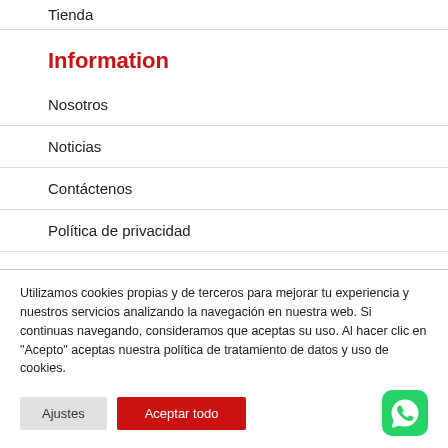Tienda
Information
Nosotros
Noticias
Contáctenos
Política de privacidad
Utilizamos cookies propias y de terceros para mejorar tu experiencia y nuestros servicios analizando la navegación en nuestra web. Si continuas navegando, consideramos que aceptas su uso. Al hacer clic en "Acepto" aceptas nuestra política de tratamiento de datos y uso de cookies.